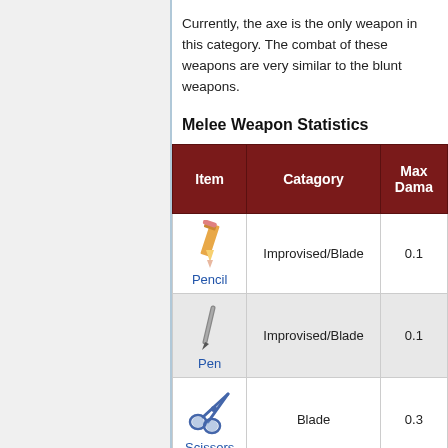Currently, the axe is the only weapon in this category. The combat of these weapons are very similar to the blunt weapons.
Melee Weapon Statistics
| Item | Catagory | Max Dama(ge) |
| --- | --- | --- |
| Pencil | Improvised/Blade | 0.1 |
| Pen | Improvised/Blade | 0.1 |
| Scissors | Blade | 0.3 |